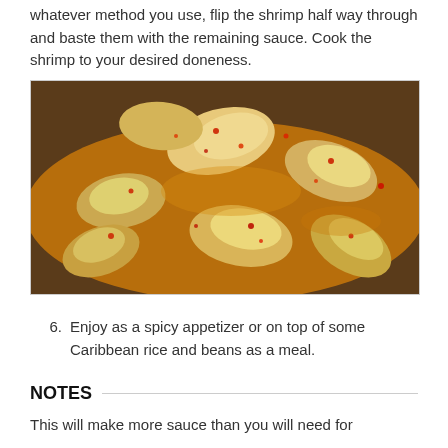whatever method you use, flip the shrimp half way through and baste them with the remaining sauce. Cook the shrimp to your desired doneness.
[Figure (photo): Close-up photo of cooked shrimp in a spicy orange-red sauce.]
6. Enjoy as a spicy appetizer or on top of some Caribbean rice and beans as a meal.
NOTES
This will make more sauce than you will need for